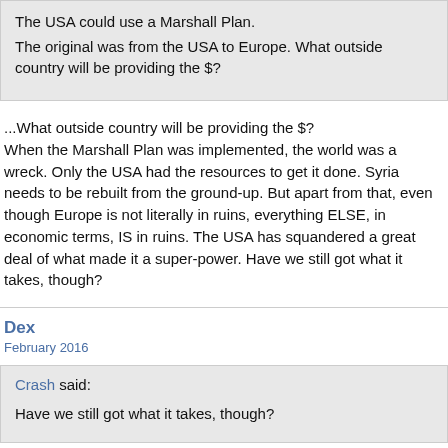The USA could use a Marshall Plan.
The original was from the USA to Europe. What outside country will be providing the $?
...What outside country will be providing the $?
When the Marshall Plan was implemented, the world was a wreck. Only the USA had the resources to get it done. Syria needs to be rebuilt from the ground-up. But apart from that, even though Europe is not literally in ruins, everything ELSE, in economic terms, IS in ruins. The USA has squandered a great deal of what made it a super-power. Have we still got what it takes, though?
Dex
February 2016
Crash said:
Have we still got what it takes, though?
No.